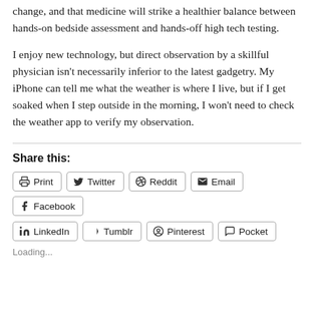change, and that medicine will strike a healthier balance between hands-on bedside assessment and hands-off high tech testing.
I enjoy new technology, but direct observation by a skillful physician isn't necessarily inferior to the latest gadgetry. My iPhone can tell me what the weather is where I live, but if I get soaked when I step outside in the morning, I won't need to check the weather app to verify my observation.
Share this:
Print  Twitter  Reddit  Email  Facebook  LinkedIn  Tumblr  Pinterest  Pocket
Loading...